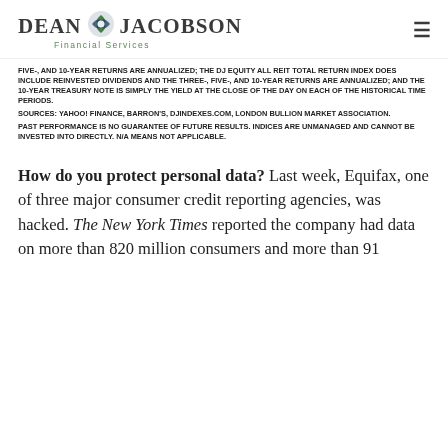Dean Jacobson Financial Services
FIVE-, AND 10-YEAR RETURNS ARE ANNUALIZED; THE DJ EQUITY ALL REIT TOTAL RETURN INDEX DOES INCLUDE REINVESTED DIVIDENDS AND THE THREE-, FIVE-, AND 10-YEAR RETURNS ARE ANNUALIZED; AND THE 10-YEAR TREASURY NOTE IS SIMPLY THE YIELD AT THE CLOSE OF THE DAY ON EACH OF THE HISTORICAL TIME PERIODS. SOURCES: YAHOO! FINANCE, BARRON'S, DJINDEXES.COM, LONDON BULLION MARKET ASSOCIATION. PAST PERFORMANCE IS NO GUARANTEE OF FUTURE RESULTS. INDICES ARE UNMANAGED AND CANNOT BE INVESTED INTO DIRECTLY. N/A MEANS NOT APPLICABLE.
How do you protect personal data? Last week, Equifax, one of three major consumer credit reporting agencies, was hacked. The New York Times reported the company had data on more than 820 million consumers and more than 91